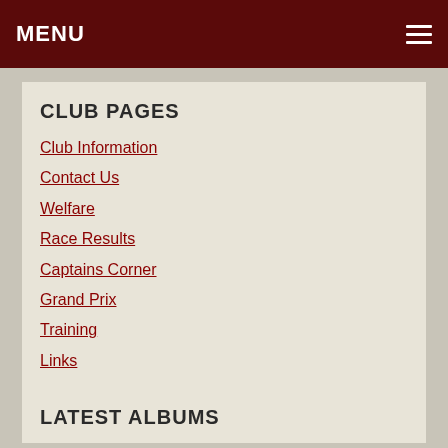MENU
CLUB PAGES
Club Information
Contact Us
Welfare
Race Results
Captains Corner
Grand Prix
Training
Links
LATEST ALBUMS